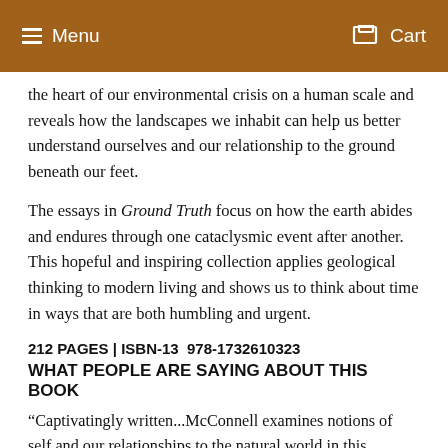Menu   Cart
the heart of our environmental crisis on a human scale and reveals how the landscapes we inhabit can help us better understand ourselves and our relationship to the ground beneath our feet.
The essays in Ground Truth focus on how the earth abides and endures through one cataclysmic event after another. This hopeful and inspiring collection applies geological thinking to modern living and shows us to think about time in ways that are both humbling and urgent.
212 PAGES | ISBN-13  978-1732610323
WHAT PEOPLE ARE SAYING ABOUT THIS BOOK
“Captivatingly written...McConnell examines notions of self and our relationships to the natural world in this significant new book.” - Ms. Magazine